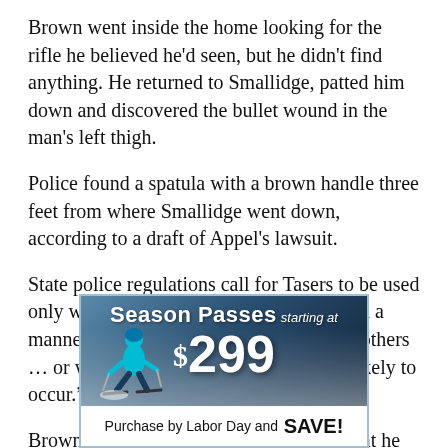Brown went inside the home looking for the rifle he believed he'd seen, but he didn't find anything. He returned to Smallidge, patted him down and discovered the bullet wound in the man's left thigh.
Police found a spatula with a brown handle three feet from where Smallidge went down, according to a draft of Appel's lawsuit.
State police regulations call for Tasers to be used only when people are “actively resisting in a manner that is likely to result in injury to others … or without further action … injury is likely to occur.”
Brown insisted in follow-up interviews that he showed
[Figure (infographic): Advertisement banner for ski season passes starting at $299. Shows a skier on a snowy slope with blue/dark background. Text reads 'Season Passes starting at $299' and 'Purchase by Labor Day and SAVE!']